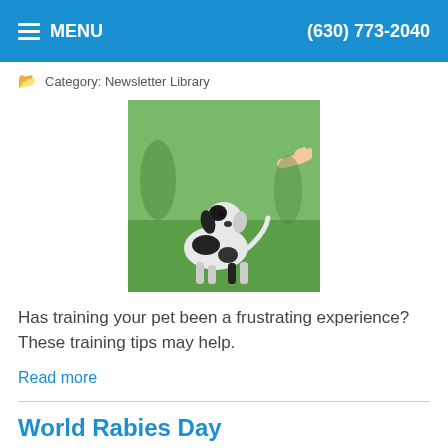MENU  (630) 773-2040
Category: Newsletter Library
[Figure (photo): A black and white dog sitting on green grass, looking up at a person's outstretched hand, outdoors training scene.]
Has training your pet been a frustrating experience? These training tips may help.
Read more
World Rabies Day
Category: Newsletter Library
[Figure (photo): Partially visible image related to World Rabies Day, with an Accessibility View toolbar overlay at the bottom right.]